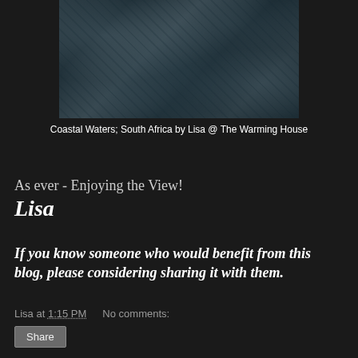[Figure (photo): Black and white aerial photograph of coastal waters with dark cloudy or wave patterns, South Africa]
Coastal Waters; South Africa by Lisa @ The Warming House
As ever - Enjoying the View!
Lisa
If you know someone who would benefit from this blog, please considering sharing it with them.
Lisa at 1:15 PM   No comments:
Share